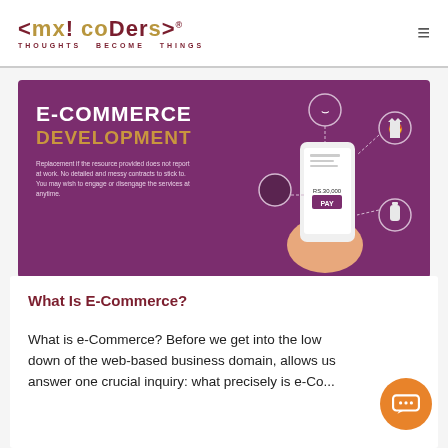mxicoders THOUGHTS BECOME THINGS
[Figure (infographic): E-Commerce Development banner with purple background, showing headline text and an illustration of a hand holding a smartphone with shopping icons (cart, receipt, clothing, bottle) and a payment screen showing RS.30,000 PAY button]
What Is E-Commerce?
What is e-Commerce? Before we get into the lowdown of the web-based business domain, allows us answer one crucial inquiry: what precisely is e-Co...